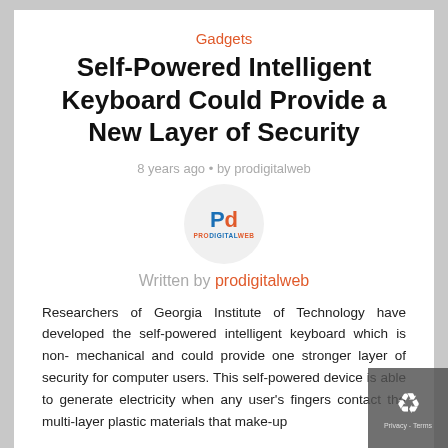Gadgets
Self-Powered Intelligent Keyboard Could Provide a New Layer of Security
8 years ago • by prodigitalweb
[Figure (logo): ProDigitalWeb logo in a circular avatar: letters Pd in blue and orange, with PRODIGITALWEB text below]
Written by prodigitalweb
Researchers of Georgia Institute of Technology have developed the self-powered intelligent keyboard which is non- mechanical and could provide one stronger layer of security for computer users. This self-powered device is able to generate electricity when any user's fingers contact the multi-layer plastic materials that make-up